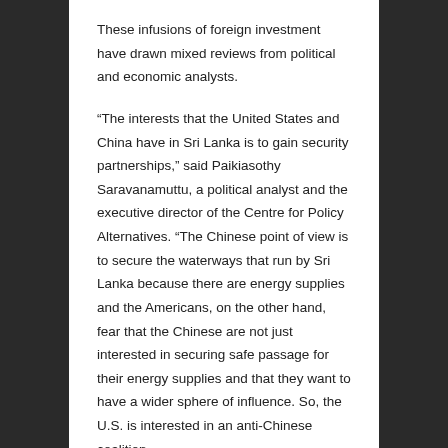These infusions of foreign investment have drawn mixed reviews from political and economic analysts.
“The interests that the United States and China have in Sri Lanka is to gain security partnerships,” said Paikiasothy Saravanamuttu, a political analyst and the executive director of the Centre for Policy Alternatives. “The Chinese point of view is to secure the waterways that run by Sri Lanka because there are energy supplies and the Americans, on the other hand, fear that the Chinese are not just interested in securing safe passage for their energy supplies and that they want to have a wider sphere of influence. So, the U.S. is interested in an anti-Chinese coalition.